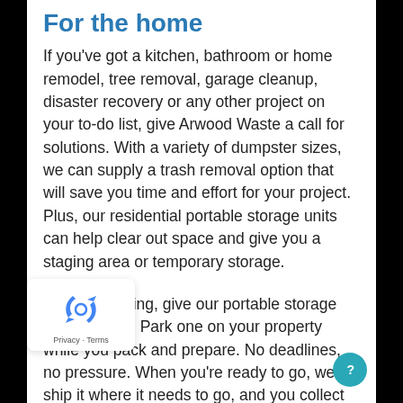For the home
If you've got a kitchen, bathroom or home remodel, tree removal, garage cleanup, disaster recovery or any other project on your to-do list, give Arwood Waste a call for solutions. With a variety of dumpster sizes, we can supply a trash removal option that will save you time and effort for your project. Plus, our residential portable storage units can help clear out space and give you a staging area or temporary storage.
If you're moving, give our portable storage solution a try. Park one on your property while you pack and prepare. No deadlines, no pressure. When you're ready to go, we'll ship it where it needs to go, and you collect your